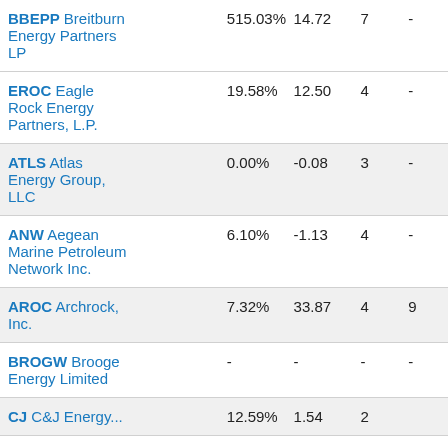| Symbol / Name | Yield | Price | Col4 | Col5 |
| --- | --- | --- | --- | --- |
| BBEPP Breitburn Energy Partners LP | 515.03% | 14.72 | 7 | - |
| EROC Eagle Rock Energy Partners, L.P. | 19.58% | 12.50 | 4 | - |
| ATLS Atlas Energy Group, LLC | 0.00% | -0.08 | 3 | - |
| ANW Aegean Marine Petroleum Network Inc. | 6.10% | -1.13 | 4 | - |
| AROC Archrock, Inc. | 7.32% | 33.87 | 4 | 9 |
| BROGW Brooge Energy Limited | - | - | - | - |
| CJ C&J Energy... | 12.59% | 1.54 | 2 | ... |